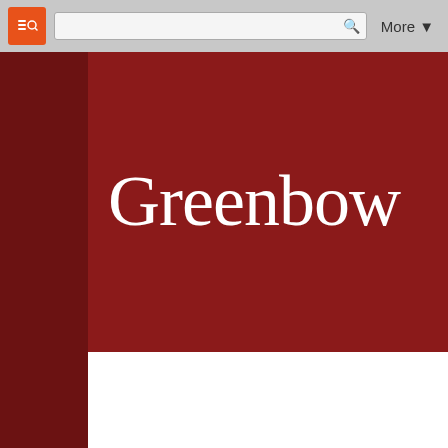Blogger navbar with search and More button
Greenbow
Wednesday, December 10, 2008
Winter Window Boxes and Planters
This fall when the shade loving plants begin to fade I like to do s... window box. When we look out the kitchen window I like to look... like I am sitting in a meadow. So this fall I cut some Hawthorn li... right hand side if you look closely you can see the remmanents... limbs.
I think someone mentioned concern about how big the Purple F... planted it in this window box in spring. It didn't get too big luckily... conditions here but it did fill a space and the blooms lasted...